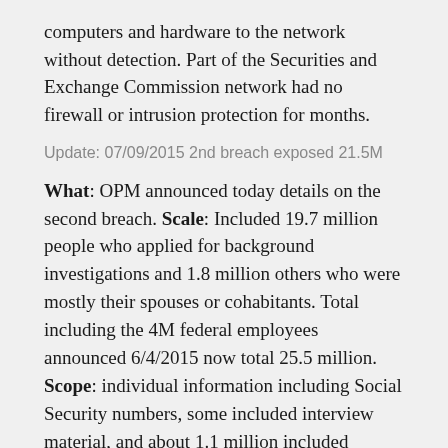computers and hardware to the network without detection. Part of the Securities and Exchange Commission network had no firewall or intrusion protection for months.
Update: 07/09/2015 2nd breach exposed 21.5M
What: OPM announced today details on the second breach. Scale: Included 19.7 million people who applied for background investigations and 1.8 million others who were mostly their spouses or cohabitants. Total including the 4M federal employees announced 6/4/2015 now total 25.5 million. Scope: individual information including Social Security numbers, some included interview material, and about 1.1 million included fingerprints. (source)
Update: 07/24/2015 Could current crop of covert operatives be desk bound?